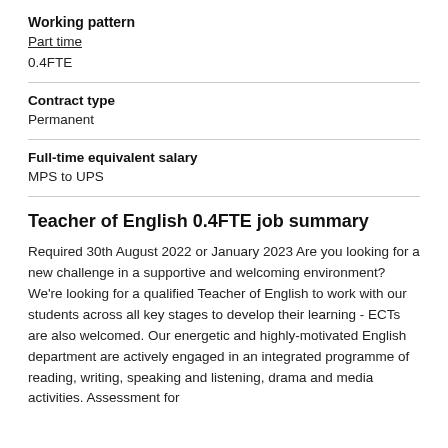Working pattern
Part time
0.4FTE
Contract type
Permanent
Full-time equivalent salary
MPS to UPS
Teacher of English 0.4FTE job summary
Required 30th August 2022 or January 2023 Are you looking for a new challenge in a supportive and welcoming environment? We're looking for a qualified Teacher of English to work with our students across all key stages to develop their learning - ECTs are also welcomed. Our energetic and highly-motivated English department are actively engaged in an integrated programme of reading, writing, speaking and listening, drama and media activities. Assessment for